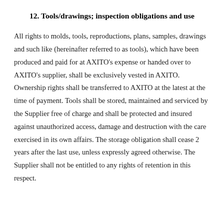12. Tools/drawings; inspection obligations and use
All rights to molds, tools, reproductions, plans, samples, drawings and such like (hereinafter referred to as tools), which have been produced and paid for at AXITO's expense or handed over to AXITO's supplier, shall be exclusively vested in AXITO. Ownership rights shall be transferred to AXITO at the latest at the time of payment. Tools shall be stored, maintained and serviced by the Supplier free of charge and shall be protected and insured against unauthorized access, damage and destruction with the care exercised in its own affairs. The storage obligation shall cease 2 years after the last use, unless expressly agreed otherwise. The Supplier shall not be entitled to any rights of retention in this respect.